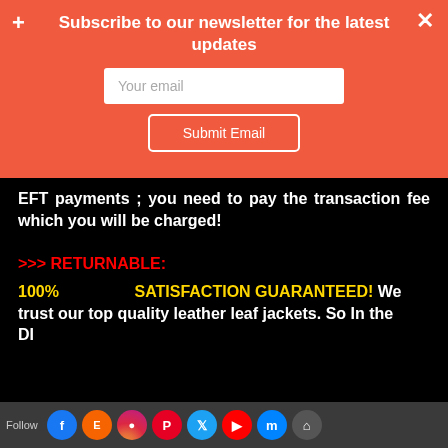Subscribe to our newsletter for the latest updates
[Figure (screenshot): Email input field with placeholder 'Your email']
[Figure (screenshot): Submit Email button]
EFT payments ; you need to pay the transaction fee which you will be charged!
>>> RETURNABLE:
100% SATISFACTION GUARANTEED! We trust our top quality leather leaf jackets. So In the DI
[Figure (screenshot): Social media follow bar with Facebook, Etsy, Instagram, Pinterest, Twitter, YouTube, Messenger, and house icons]